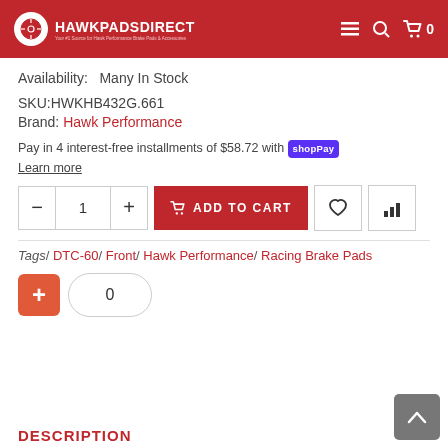HawkPadsDirect
Availability:  Many In Stock
SKU:HWKHB432G.661
Brand: Hawk Performance
Pay in 4 interest-free installments of $58.72 with Shop Pay
Learn more
Tags/ DTC-60/ Front/ Hawk Performance/ Racing Brake Pads
DESCRIPTION